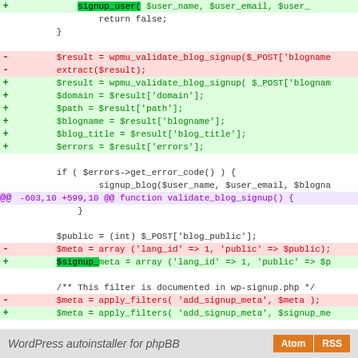[Figure (screenshot): Code diff view showing PHP code changes for WordPress blog signup functions, with added lines in green, removed lines in red, and hunk markers in purple. Footer bar shows 'WordPress autoinstaller for phpBB' with Atom and RSS buttons.]
WordPress autoinstaller for phpBB